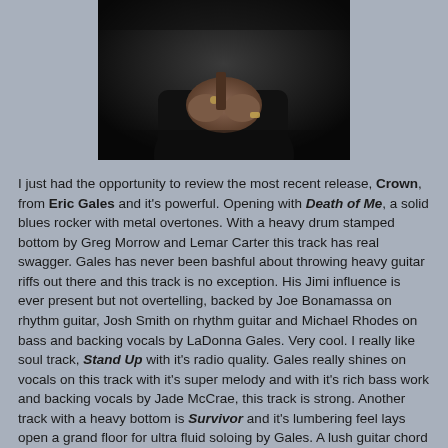[Figure (photo): Close-up photo of a person's hands holding a guitar, dark background, person wearing jewelry/watch]
I just had the opportunity to review the most recent release, Crown, from Eric Gales and it's powerful. Opening with Death of Me, a solid blues rocker with metal overtones. With a heavy drum stamped bottom by Greg Morrow and Lemar Carter this track has real swagger. Gales has never been bashful about throwing heavy guitar riffs out there and this track is no exception. His Jimi influence is ever present but not overtelling, backed by Joe Bonamassa on rhythm guitar, Josh Smith on rhythm guitar and Michael Rhodes on bass and backing vocals by LaDonna Gales. Very cool. I really like soul track, Stand Up with it's radio quality. Gales really shines on vocals on this track with it's super melody and with it's rich bass work and backing vocals by Jade McCrae, this track is strong. Another track with a heavy bottom is Survivor and it's lumbering feel lays open a grand floor for ultra fluid soloing by Gales. A lush guitar chord laden intro on Too Close To The Fire really puts you in mind of SRV's